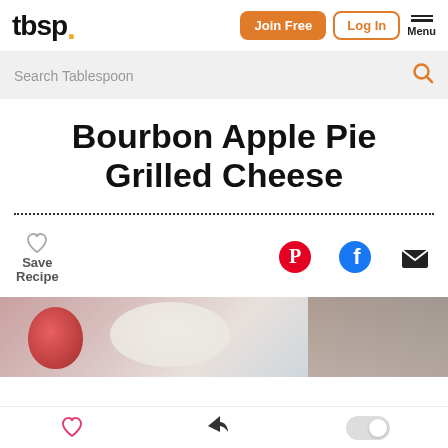tbsp. | Join Free | Log In | Menu
Search Tablespoon
Bourbon Apple Pie Grilled Cheese
Save Recipe
[Figure (photo): Close-up photo of a red apple and grilled cheese sandwich on a dark surface]